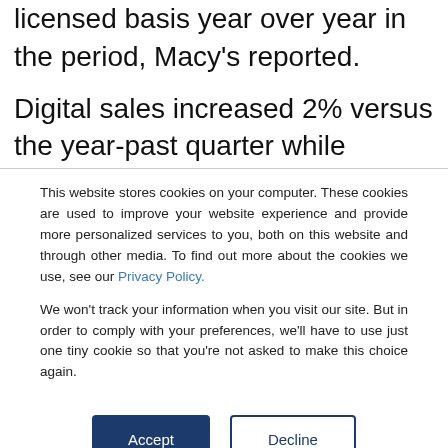licensed basis year over year in the period, Macy's reported.
Digital sales increased 2% versus the year-past quarter while increasing 34% versus the 2019 first quarter, Macy's added.
This website stores cookies on your computer. These cookies are used to improve your website experience and provide more personalized services to you, both on this website and through other media. To find out more about the cookies we use, see our Privacy Policy.
We won't track your information when you visit our site. But in order to comply with your preferences, we'll have to use just one tiny cookie so that you're not asked to make this choice again.